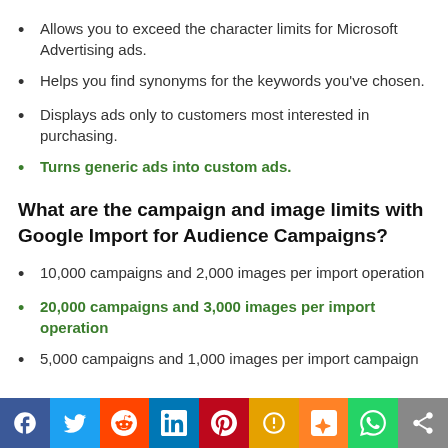Allows you to exceed the character limits for Microsoft Advertising ads.
Helps you find synonyms for the keywords you've chosen.
Displays ads only to customers most interested in purchasing.
Turns generic ads into custom ads.
What are the campaign and image limits with Google Import for Audience Campaigns?
10,000 campaigns and 2,000 images per import operation
20,000 campaigns and 3,000 images per import operation
5,000 campaigns and 1,000 images per import campaign